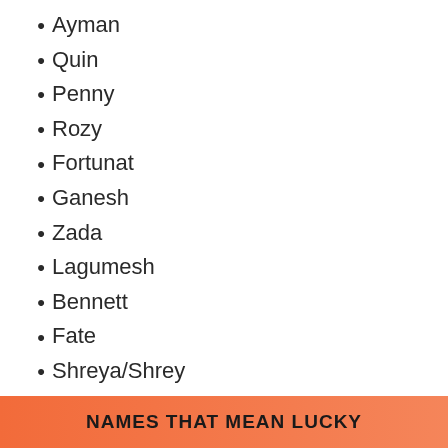Ayman
Quin
Penny
Rozy
Fortunat
Ganesh
Zada
Lagumesh
Bennett
Fate
Shreya/Shrey
Faust
Tashi
NAMES THAT MEAN LUCKY